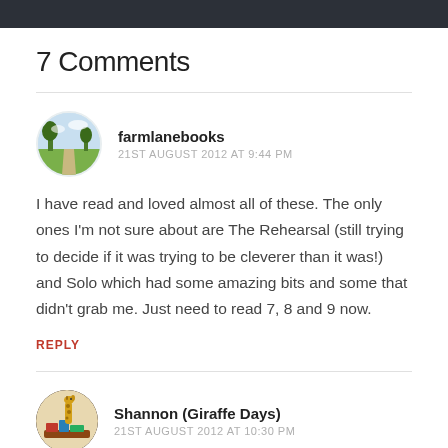7 Comments
farmlanebooks
21ST AUGUST 2012 AT 9:44 PM
I have read and loved almost all of these. The only ones I'm not sure about are The Rehearsal (still trying to decide if it was trying to be cleverer than it was!) and Solo which had some amazing bits and some that didn't grab me. Just need to read 7, 8 and 9 now.
REPLY
Shannon (Giraffe Days)
21ST AUGUST 2012 AT 10:30 PM